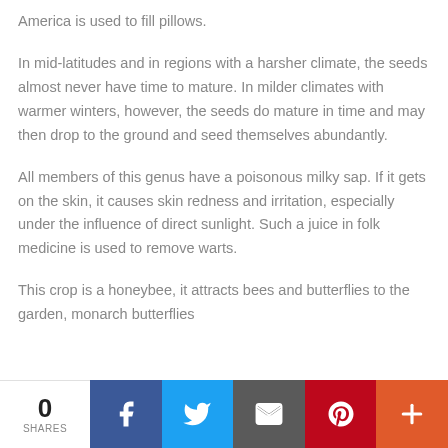America is used to fill pillows.
In mid-latitudes and in regions with a harsher climate, the seeds almost never have time to mature. In milder climates with warmer winters, however, the seeds do mature in time and may then drop to the ground and seed themselves abundantly.
All members of this genus have a poisonous milky sap. If it gets on the skin, it causes skin redness and irritation, especially under the influence of direct sunlight. Such a juice in folk medicine is used to remove warts.
This crop is a honeybee, it attracts bees and butterflies to the garden, monarch butterflies
0 SHARES | Facebook | Twitter | Email | Pinterest | More